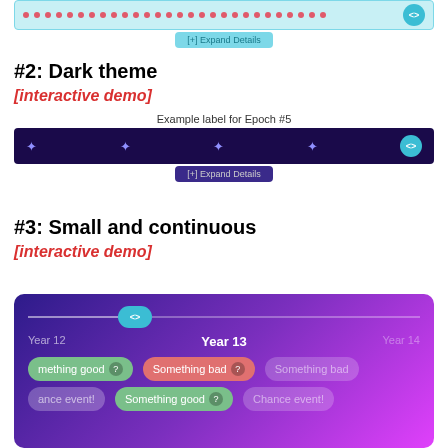[Figure (screenshot): Light blue dotted timeline bar with teal code icon and expand details button]
#2: Dark theme
[interactive demo]
Example label for Epoch #5
[Figure (screenshot): Dark purple timeline bar with star dots, teal code icon, and dark expand details button]
#3: Small and continuous
[interactive demo]
[Figure (screenshot): Colorful gradient timeline showing Year 12, Year 13, Year 14 with event pills: something good, something bad, chance event, something good]